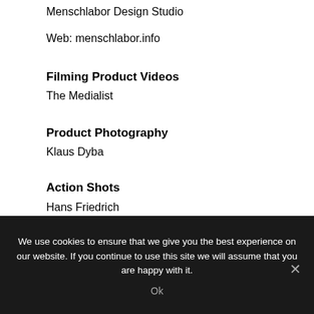Menschlabor Design Studio
Web: menschlabor.info
Filming Product Videos
The Medialist
Product Photography
Klaus Dyba
Action Shots
Hans Friedrich
Moritz Nussbaumer
Scott Connor
We use cookies to ensure that we give you the best experience on our website. If you continue to use this site we will assume that you are happy with it.
Ok